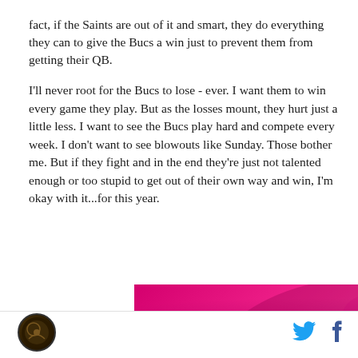fact, if the Saints are out of it and smart, they do everything they can to give the Bucs a win just to prevent them from getting their QB.
I'll never root for the Bucs to lose - ever. I want them to win every game they play. But as the losses mount, they hurt just a little less. I want to see the Bucs play hard and compete every week. I don't want to see blowouts like Sunday. Those bother me. But if they fight and in the end they're just not talented enough or too stupid to get out of their own way and win, I'm okay with it...for this year.
[Figure (photo): Pink/magenta banner advertisement with abstract floral or leaf shapes]
Site logo icon on left; Twitter and Facebook social icons on right